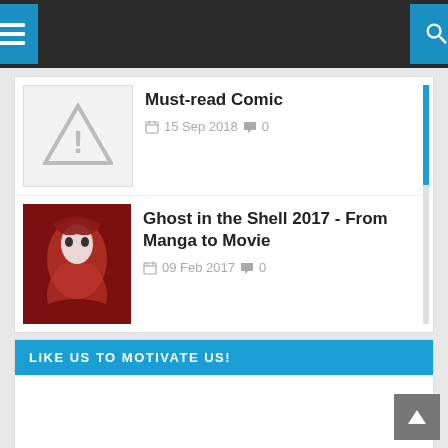Navigation bar with hamburger menu and search icon
Must-read Comic | 15 Sep 2018 | 0 comments
Ghost in the Shell 2017 - From Manga to Movie | 09 Feb 2017 | 0 comments
LIKE US TO MOTIVATE US!
TAG CLOUDS
acne (1)
America Economy (2)
ancient (13)
animal (45)
Antibacterial (1)
Antimicrobial (1)